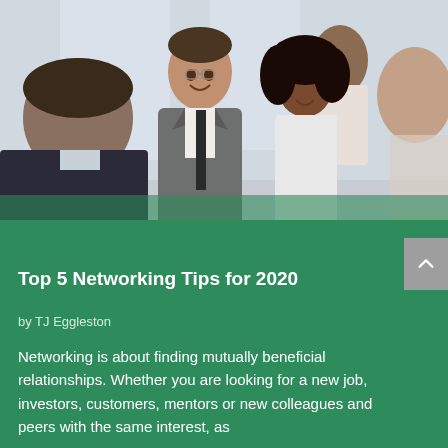[Figure (photo): Group of business professionals networking at an event, smiling and shaking hands in an office setting.]
Top 5 Networking Tips for 2020
by TJ Eggleston
Networking is about finding mutually beneficial relationships. Whether you are looking for a new job, investors, customers, mentors or new colleagues and peers with the same interest, as